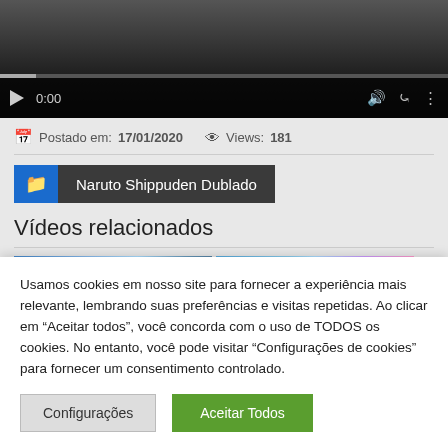[Figure (screenshot): Video player with black background, playback controls showing 0:00 timestamp, progress bar, volume, fullscreen and menu icons]
Postado em: 17/01/2020   Views: 181
Naruto Shippuden Dublado
Vídeos relacionados
[Figure (screenshot): Two video thumbnails partially visible - left thumbnail with blue tones, right thumbnail with multicolor gradient]
Usamos cookies em nosso site para fornecer a experiência mais relevante, lembrando suas preferências e visitas repetidas. Ao clicar em "Aceitar todos", você concorda com o uso de TODOS os cookies. No entanto, você pode visitar "Configurações de cookies" para fornecer um consentimento controlado.
Configurações
Aceitar Todos